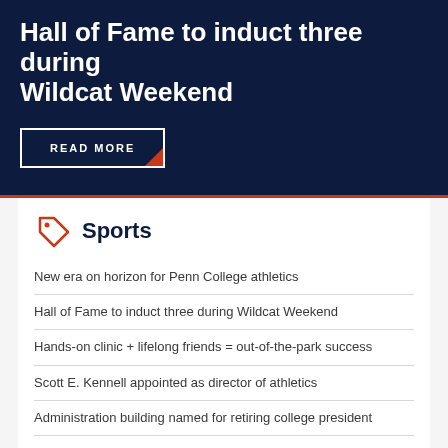Hall of Fame to induct three during Wildcat Weekend
READ MORE
Sports
New era on horizon for Penn College athletics
Hall of Fame to induct three during Wildcat Weekend
Hands-on clinic + lifelong friends = out-of-the-park success
Scott E. Kennell appointed as director of athletics
Administration building named for retiring college president